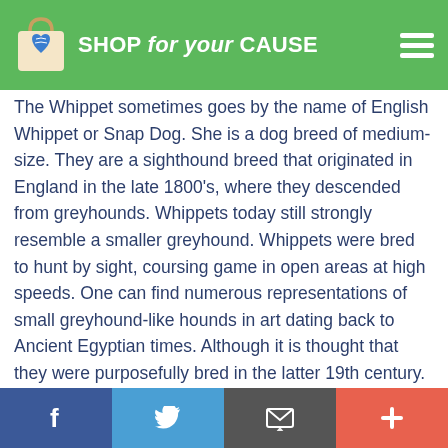SHOP for your CAUSE
The Whippet sometimes goes by the name of English Whippet or Snap Dog. She is a dog breed of medium-size. They are a sighthound breed that originated in England in the late 1800's, where they descended from greyhounds. Whippets today still strongly resemble a smaller greyhound. Whippets were bred to hunt by sight, coursing game in open areas at high speeds. One can find numerous representations of small greyhound-like hounds in art dating back to Ancient Egyptian times. Although it is thought that they were purposefully bred in the latter 19th century. Pharaohs bred a small sighthound dog related to the greyhound to keep in
Facebook | Twitter | Email | Plus